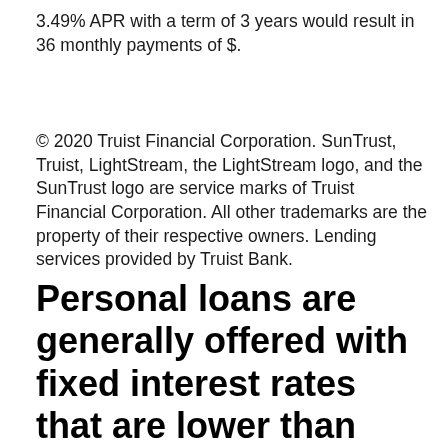3.49% APR with a term of 3 years would result in 36 monthly payments of $.
© 2020 Truist Financial Corporation. SunTrust, Truist, LightStream, the LightStream logo, and the SunTrust logo are service marks of Truist Financial Corporation. All other trademarks are the property of their respective owners. Lending services provided by Truist Bank.
Personal loans are generally offered with fixed interest rates that are lower than other financing options, such as credit cards, allowing for a straightforward repayment